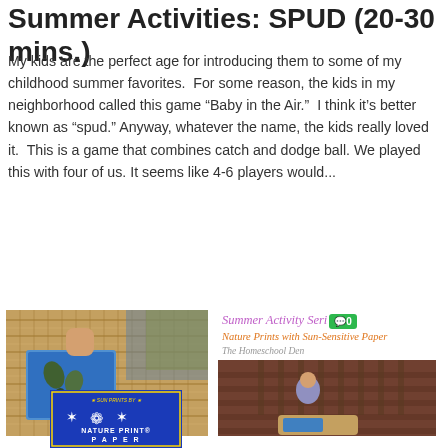Summer Activities: SPUD (20-30 mins.)
My kids are the perfect age for introducing them to some of my childhood summer favorites.  For some reason, the kids in my neighborhood called this game “Baby in the Air.”  I think it’s better known as “spud.” Anyway, whatever the name, the kids really loved it.  This is a game that combines catch and dodge ball. We played this with four of us. It seems like 4-6 players would...
[Figure (photo): Close-up photo of a wicker tray with blue sun-sensitive paper and leaves on it, hands visible working on a nature print project]
[Figure (photo): Card header reading 'Summer Activity Series' in purple italic with a green comment badge showing '0', subtitle 'Nature Prints with Sun-Sensitive Paper' in orange, source 'The Homeschool Den', and a photo of a girl kneeling on a wooden deck with a wicker tray]
[Figure (photo): Blue package of Nature Print Paper with leaf/tree graphics and text 'NATURE PRINT PAPER']